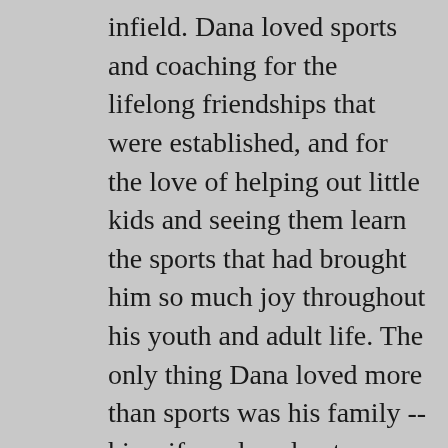infield. Dana loved sports and coaching for the lifelong friendships that were established, and for the love of helping out little kids and seeing them learn the sports that had brought him so much joy throughout his youth and adult life. The only thing Dana loved more than sports was his family -- his wife and soulmate Feliciti, his daughters Jocelyn, Annabelle, Olivia, and Gracie, and his son Brody. He was also an avid businessman and a partner at Ebel Integrators, a family-owned business in which he partnered with his father Dwight and his brother Damian. With his energetic personality and his friends calling him "the mayor" because he could strike up a